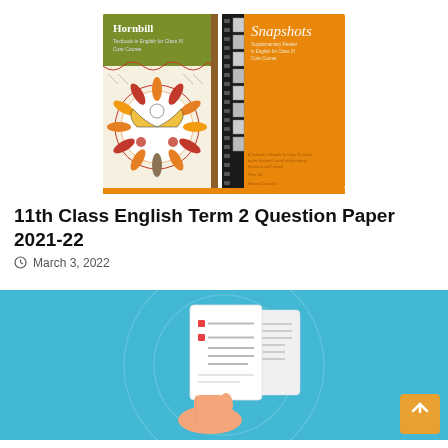[Figure (illustration): Two NCERT textbook covers side by side: 'Hornbill' (green cover with Madhubani folk art bird/peacock design) and 'Snapshots' (orange cover with film strip design)]
11th Class English Term 2 Question Paper 2021-22
March 3, 2022
[Figure (illustration): Illustration on teal/cyan background showing a hand holding a document/question paper with a checklist, and stacked papers behind it — representing an exam question paper]